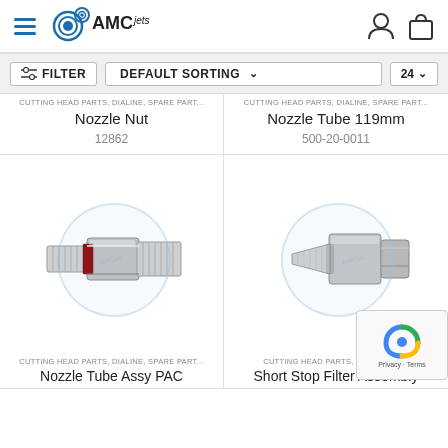AMCjets header with navigation
FILTER | DEFAULT SORTING ∨ | 24 ∨
CUTTING HEAD PARTS, DIALINE, SPARE PART...
Nozzle Nut
12862
CUTTING HEAD PARTS, DIALINE, SPARE PART...
Nozzle Tube 119mm
500-20-0011
[Figure (photo): Metal nozzle tube assembly connector fitting, threaded steel part with hex nut and barbed fittings]
[Figure (photo): Short stop filter assembly metal part, threaded nozzle with hex body]
CUTTING HEAD PARTS, DIALINE, SPARE PART...
Nozzle Tube Assy PAC
CUTTING HEAD PARTS, DIALINE, SP...
Short Stop Filter Assembly